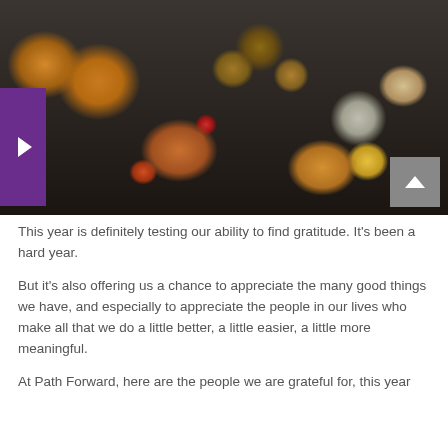[Figure (photo): Overhead view of a Thanksgiving table spread with roasted turkey, mushrooms on a white plate, orange pumpkin soup or dip in a bowl, red flowers, various small yellow and gray pumpkins/gourds, a pie in top right, and a purple navigation tab on the left side.]
This year is definitely testing our ability to find gratitude. It's been a hard year.
But it's also offering us a chance to appreciate the many good things we have, and especially to appreciate the people in our lives who make all that we do a little better, a little easier, a little more meaningful.
At Path Forward, here are the people we are grateful for, this year